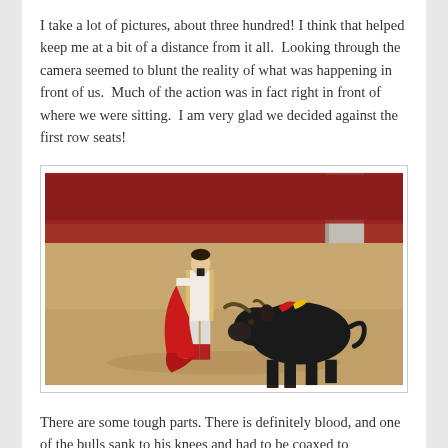I take a lot of pictures, about three hundred! I think that helped keep me at a bit of a distance from it all. Looking through the camera seemed to blunt the reality of what was happening in front of us. Much of the action was in fact right in front of where we were sitting. I am very glad we decided against the first row seats!
[Figure (photo): A bullfighter in a white and gold suit holding a red cape, facing a large black bull with red decorations on its back, in a sandy bullring arena with a dark red barrier wall in the background.]
There are some tough parts. There is definitely blood, and one of the bulls sank to his knees and had to be coaxed to